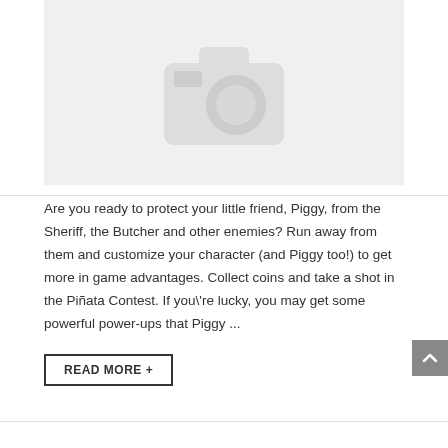[Figure (photo): Gray placeholder image with a camera icon, representing a missing or unloaded photo.]
Are you ready to protect your little friend, Piggy, from the Sheriff, the Butcher and other enemies? Run away from them and customize your character (and Piggy too!) to get more in game advantages. Collect coins and take a shot in the Piñata Contest. If you\'re lucky, you may get some powerful power-ups that Piggy ...
READ MORE +